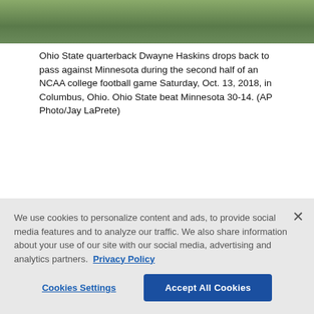[Figure (photo): Top portion of a football game photo showing the field]
Ohio State quarterback Dwayne Haskins drops back to pass against Minnesota during the second half of an NCAA college football game Saturday, Oct. 13, 2018, in Columbus, Ohio. Ohio State beat Minnesota 30-14. (AP Photo/Jay LaPrete)
[Figure (photo): Two football game photos side by side: left shows LSU player #18 celebrating with fans, right shows players at game]
BATON ROUGE, La. (AP) — Joe
We use cookies to personalize content and ads, to provide social media features and to analyze our traffic. We also share information about your use of our site with our social media, advertising and analytics partners.  Privacy Policy
Cookies Settings  Accept All Cookies